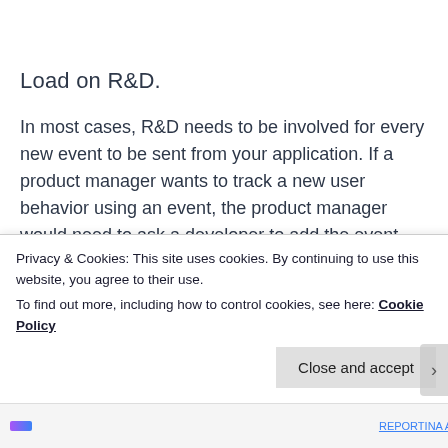Load on R&D.
In most cases, R&D needs to be involved for every new event to be sent from your application. If a product manager wants to track a new user behavior using an event, the product manager would need to ask a developer to add the event. The developer would need to pause her work, actually developing the application and its new features, and focus on sending analytics events.
Privacy & Cookies: This site uses cookies. By continuing to use this website, you agree to their use.
To find out more, including how to control cookies, see here: Cookie Policy
Close and accept